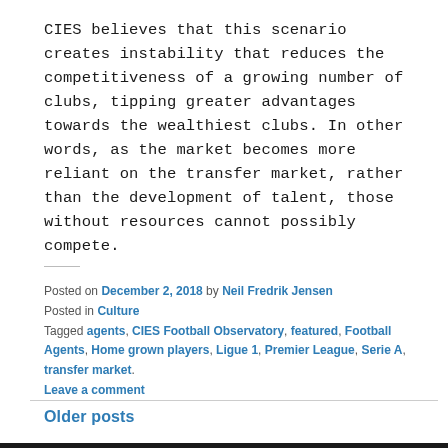CIES believes that this scenario creates instability that reduces the competitiveness of a growing number of clubs, tipping greater advantages towards the wealthiest clubs. In other words, as the market becomes more reliant on the transfer market, rather than the development of talent, those without resources cannot possibly compete.
Posted on December 2, 2018 by Neil Fredrik Jensen
Posted in Culture
Tagged agents, CIES Football Observatory, featured, Football Agents, Home grown players, Ligue 1, Premier League, Serie A, transfer market.
Leave a comment
Older posts